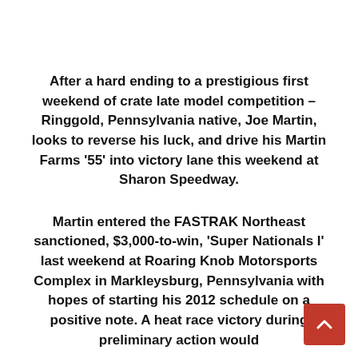After a hard ending to a prestigious first weekend of crate late model competition – Ringgold, Pennsylvania native, Joe Martin, looks to reverse his luck, and drive his Martin Farms '55' into victory lane this weekend at Sharon Speedway.
Martin entered the FASTRAK Northeast sanctioned, $3,000-to-win, 'Super Nationals I' last weekend at Roaring Knob Motorsports Complex in Markleysburg, Pennsylvania with hopes of starting his 2012 schedule on a positive note. A heat race victory during preliminary action would